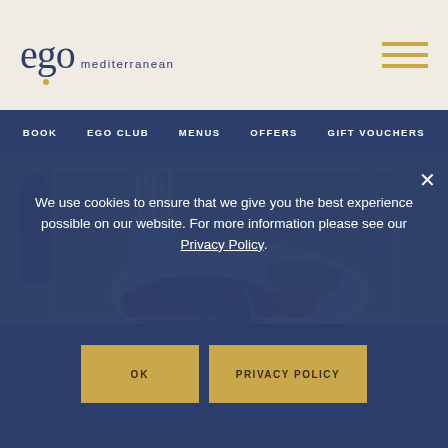[Figure (logo): Ego Mediterranean restaurant logo — stylized lowercase 'ego' with a dot accent in gold, followed by 'mediterranean' in small caps]
BOOK   EGO CLUB   MENUS   OFFERS   GIFT VOUCHERS
[Figure (photo): Restaurant food photo: a grilled steak on a plate with french fries in a metal cup, green salad, grilled tomato, and a glass of red wine in the background]
We use cookies to ensure that we give you the best experience possible on our website. For more information please see our Privacy Policy.
OK   PRIVACY POLICY